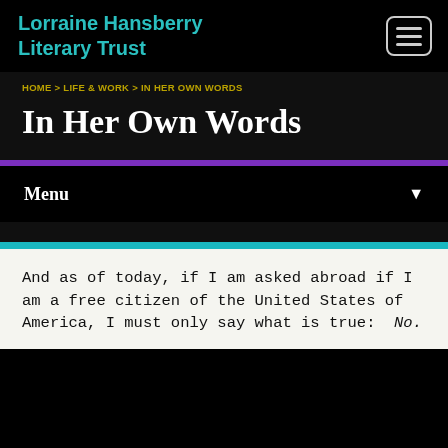Lorraine Hansberry Literary Trust
HOME > LIFE & WORK > IN HER OWN WORDS
In Her Own Words
Menu
And as of today, if I am asked abroad if I am a free citizen of the United States of America, I must only say what is true:  No.